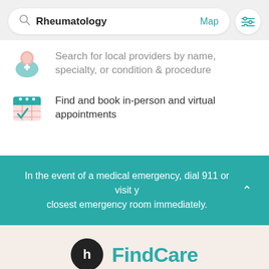[Figure (screenshot): Search bar showing 'Rheumatology' with a Map link and filter icon button]
Search for local providers by name, specialty, or condition & procedure
Find and book in-person and virtual appointments
In the event of a medical emergency, dial 911 or visit your closest emergency room immediately.
[Figure (logo): Healthline FindCare logo — circular black 'h' icon beside teal 'FindCare' wordmark]